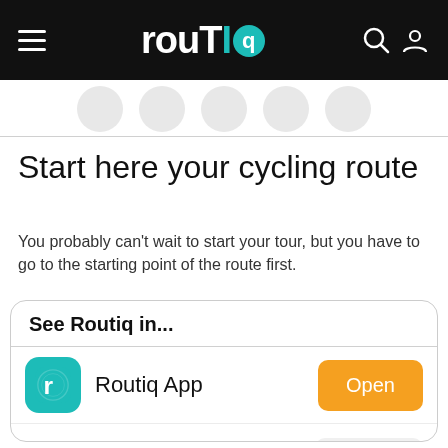routIQ
[Figure (illustration): Row of circular icon buttons partially visible at top of content area]
Start here your cycling route
You probably can't wait to start your tour, but you have to go to the starting point of the route first.
See Routiq in...
Routiq App
Open
Browser
Continue